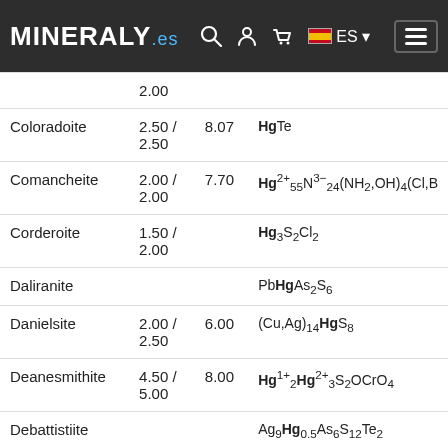MINERALY.es navigation bar with search, user, cart, ES flag, and menu icons
| Mineral | Hardness | Density | Formula |
| --- | --- | --- | --- |
|  | 2.00 |  |  |
| Coloradoite | 2.50 / 2.50 | 8.07 | HgTe |
| Comancheite | 2.00 / 2.00 | 7.70 | Hg2+55N3-24(NH2,OH)4(Cl,Br)... |
| Corderoite | 1.50 / 2.00 |  | Hg3S2Cl2 |
| Daliranite |  |  | PbHgAs2S6 |
| Danielsite | 2.00 / 2.50 | 6.00 | (Cu,Ag)14HgS8 |
| Deanesmithite | 4.50 / 5.00 | 8.00 | Hg1+2Hg2+3S2OCrO4 |
| Debattistiite |  |  | Ag9Hg0.5As6S12Te2 |
| Donharrisite | 2.00 / 2.00 | 5.00 | Ni8Hg3S9 |
| Edgarbaileyite | 4.00 / | 9.40 | Hg1+6Si2O7 |